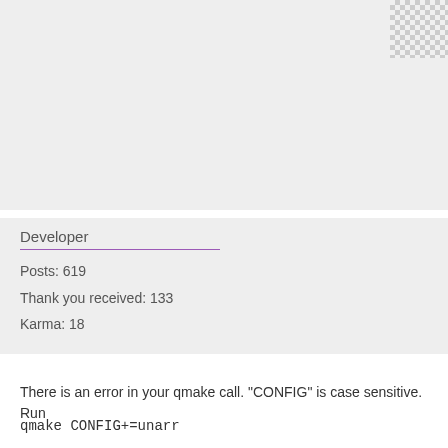[Figure (illustration): Light gray background area at top of page, with a checkered/transparent pattern in the top-right corner representing an avatar placeholder]
Developer
Posts: 619
Thank you received: 133
Karma: 18
There is an error in your qmake call. "CONFIG" is case sensitive. Run
qmake CONFIG+=unarr
But for the current code, it should default to unarr even if you do not e
My answers are not necessarily official YACReader statements but mostly repres